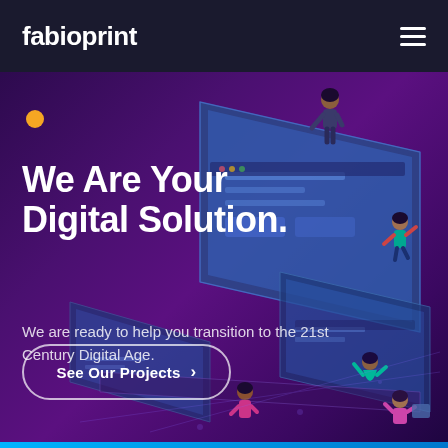fabioprint
[Figure (illustration): Isometric illustration of people interacting with large digital screens/monitors on a purple gradient background. Figures are shown climbing, reaching, and working on oversized computer screens displaying UI elements.]
We Are Your Digital Solution.
We are ready to help you transition to the 21st Century Digital Age.
See Our Projects ›